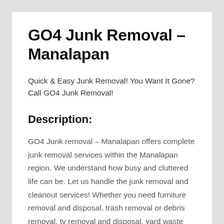GO4 Junk Removal – Manalapan
Quick & Easy Junk Removal! You Want It Gone? Call GO4 Junk Removal!
Description:
GO4 Junk removal – Manalapan offers complete junk removal services within the Manalapan region. We understand how busy and cluttered life can be. Let us handle the junk removal and cleanout services! Whether you need furniture removal and disposal, trash removal or debris removal, tv removal and disposal, yard waste removal, or an appliance removed or disposed? Whatever you need, GO4 Junk Removal is